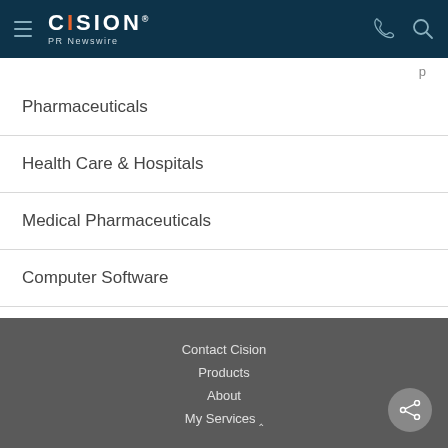Cision PR Newswire
Pharmaceuticals
Health Care & Hospitals
Medical Pharmaceuticals
Computer Software
Computer & Electronics
Contact Cision
Products
About
My Services